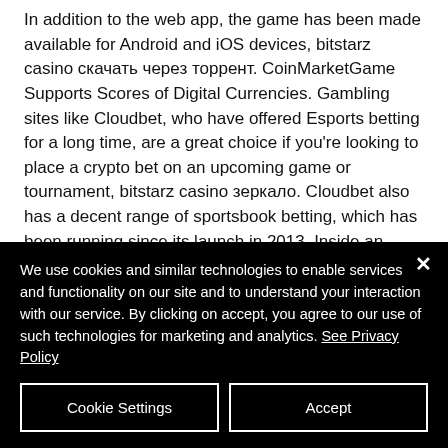In addition to the web app, the game has been made available for Android and iOS devices, bitstarz casino скачать через торрент. CoinMarketGame Supports Scores of Digital Currencies. Gambling sites like Cloudbet, who have offered Esports betting for a long time, are a great choice if you're looking to place a crypto bet on an upcoming game or tournament, bitstarz casino зеркало. Cloudbet also has a decent range of sportsbook betting, which has been running since its launch in 2013. Inside an EVM are lots of objects called accounts,
We use cookies and similar technologies to enable services and functionality on our site and to understand your interaction with our service. By clicking on accept, you agree to our use of such technologies for marketing and analytics. See Privacy Policy
Cookie Settings
Accept